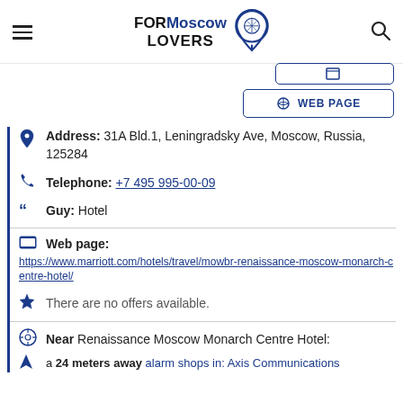FOR Moscow LOVERS
[Figure (logo): FORMoscow LOVERS logo with location pin icon]
Address: 31A Bld.1, Leningradsky Ave, Moscow, Russia, 125284
Telephone: +7 495 995-00-09
Guy: Hotel
Web page:
https://www.marriott.com/hotels/travel/mowbr-renaissance-moscow-monarch-centre-hotel/
There are no offers available.
Near Renaissance Moscow Monarch Centre Hotel:
a 24 meters away alarm shops in: Axis Communications